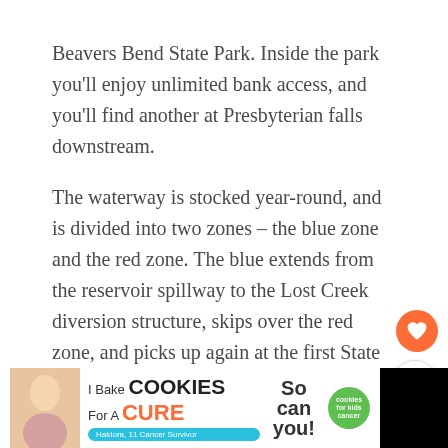Beavers Bend State Park. Inside the park you'll enjoy unlimited bank access, and you'll find another at Presbyterian falls downstream.
The waterway is stocked year-round, and is divided into two zones – the blue zone and the red zone. The blue extends from the reservoir spillway to the Lost Creek diversion structure, skips over the red zone, and picks up again at the first State Highway 259A bridge to the State Park Dam. It then skips over another, larger red zone and runs from the mouth of the Branch Creek to the U.S. 70 bridge.
[Figure (screenshot): Orange heart/like button and share button overlaid on the right side of the text. A 'What's Next' recommendation card showing a thumbnail and 'Pricing Plans · DIY Fly...' text.]
[Figure (screenshot): Advertisement banner at the bottom: 'I Bake COOKIES For A CURE' with a photo of a girl, 'So can you!' text, cookies for kids cancer logo, and a close button.]